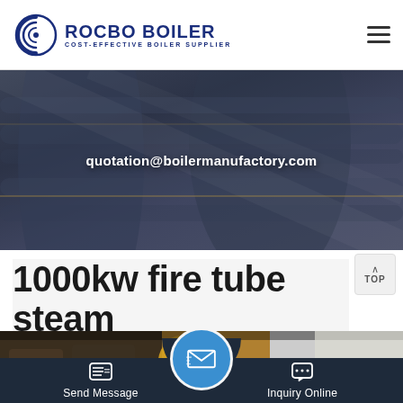ROCBO BOILER — COST-EFFECTIVE BOILER SUPPLIER
[Figure (photo): Dark industrial background showing cylindrical boiler tubes/pipes in a factory setting with the email address quotation@boilermanufactory.com overlaid in white bold text]
1000kw fire tube steam
[Figure (photo): Interior factory image showing yellow/gold colored industrial boiler components]
Send Message | Inquiry Online